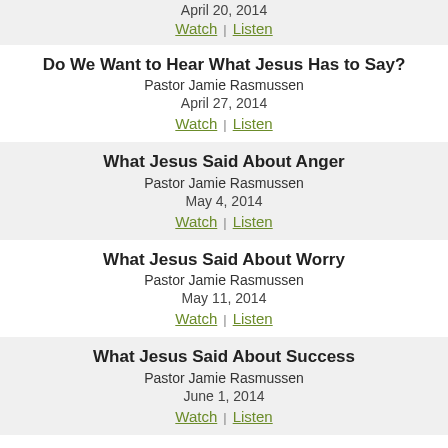April 20, 2014
Watch  Listen
Do We Want to Hear What Jesus Has to Say?
Pastor Jamie Rasmussen
April 27, 2014
Watch  Listen
What Jesus Said About Anger
Pastor Jamie Rasmussen
May 4, 2014
Watch  Listen
What Jesus Said About Worry
Pastor Jamie Rasmussen
May 11, 2014
Watch  Listen
What Jesus Said About Success
Pastor Jamie Rasmussen
June 1, 2014
Watch  Listen